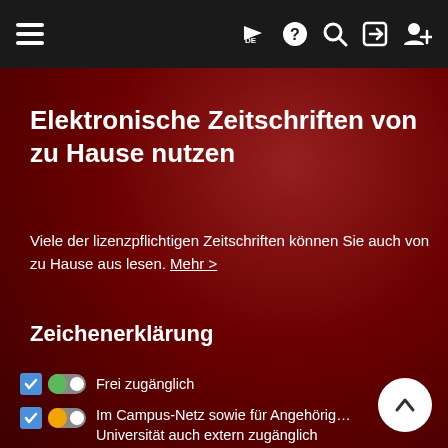Navigation bar with hamburger menu, flag/DE, help, search, login, user-add icons
Elektronische Zeitschriften von zu Hause nutzen
Viele der lizenzpflichtigen Zeitschriften können Sie auch von zu Hause aus lesen. Mehr >
Zeichenerklärung
Frei zugänglich
Im Campus-Netz sowie für Angehörige Universität auch extern zugänglich
Nur für einen Teil der erschienenen